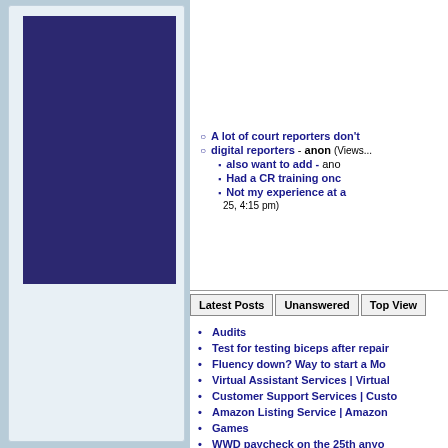[Figure (other): Left sidebar with dark navy blue rectangular box inside a light blue panel]
A lot of court reporters don't
digital reporters - anon (Views...)
also want to add - ano...
Had a CR training onc...
Not my experience at a... 25, 4:15 pm)
Latest Posts | Unanswered | Top View...
Audits
Test for testing biceps after repair
Fluency down? Way to start a Mo...
Virtual Assistant Services | Virtual...
Customer Support Services | Custo...
Amazon Listing Service | Amazon...
Games
WWD paycheck on the 25th anyo...
Health